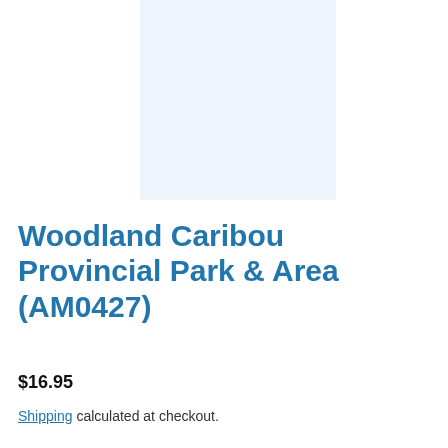[Figure (other): Light blue rectangular placeholder image for product]
Woodland Caribou Provincial Park & Area (AM0427)
$16.95
Shipping calculated at checkout.